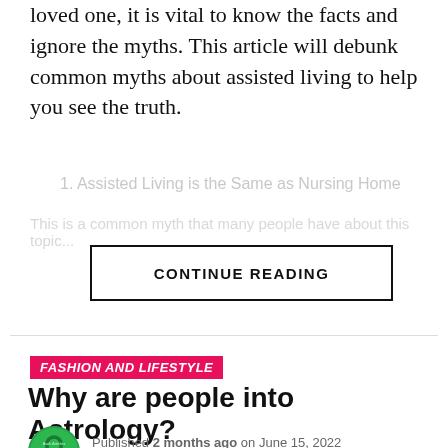loved one, it is vital to know the facts and ignore the myths. This article will debunk common myths about assisted living to help you see the truth.
1. Assisted Living is the Same as Nursing Home
[blurred/obscured text]
CONTINUE READING
FASHION AND LIFESTYLE
Why are people into Astrology?
Published 2 months ago on June 15, 2022
By Michael Caine
[Figure (photo): Bottom of article page showing a book and accessories on a light background]